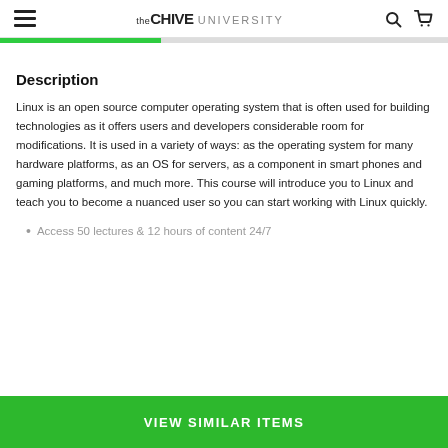theChive UNIVERSITY
Description
Linux is an open source computer operating system that is often used for building technologies as it offers users and developers considerable room for modifications. It is used in a variety of ways: as the operating system for many hardware platforms, as an OS for servers, as a component in smart phones and gaming platforms, and much more. This course will introduce you to Linux and teach you to become a nuanced user so you can start working with Linux quickly.
Access 50 lectures & 12 hours of content 24/7
VIEW SIMILAR ITEMS